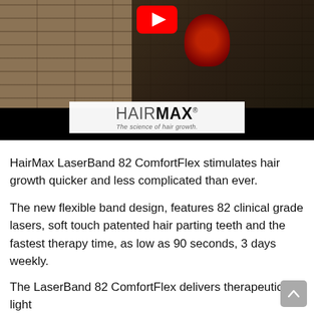[Figure (screenshot): YouTube video thumbnail showing a man holding a HairMax LaserBand 82 device against a brick wall background, with HairMax logo and tagline 'The science of hair growth.' overlaid on a white box]
HairMax LaserBand 82 ComfortFlex stimulates hair growth quicker and less complicated than ever.
The new flexible band design, features 82 clinical grade lasers, soft touch patented hair parting teeth and the fastest therapy time, as low as 90 seconds, 3 days weekly.
The LaserBand 82 ComfortFlex delivers therapeutic light